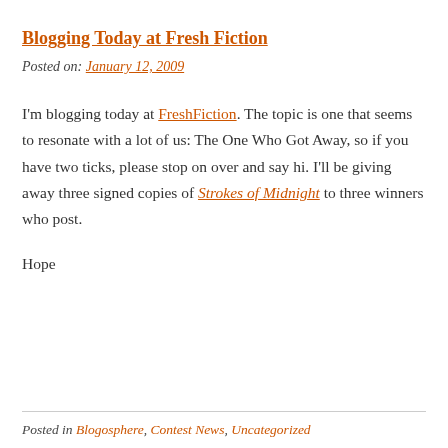Blogging Today at Fresh Fiction
Posted on: January 12, 2009
I'm blogging today at FreshFiction. The topic is one that seems to resonate with a lot of us: The One Who Got Away, so if you have two ticks, please stop on over and say hi. I'll be giving away three signed copies of Strokes of Midnight to three winners who post.
Hope
Posted in Blogosphere, Contest News, Uncategorized